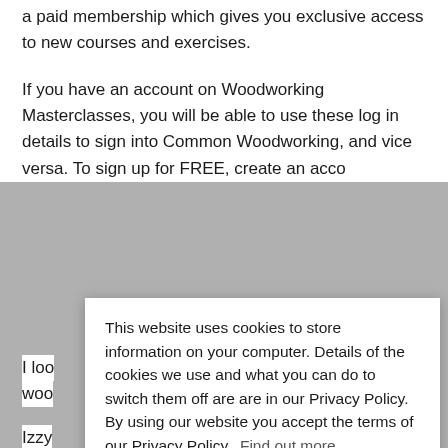a paid membership which gives you exclusive access to new courses and exercises.
If you have an account on Woodworking Masterclasses, you will be able to use these log in details to sign into Common Woodworking, and vice versa. To sign up for FREE, create an acco
I loo
woo
Izzy
Rese
This website uses cookies to store information on your computer. Details of the cookies we use and what you can do to switch them off are are in our Privacy Policy. By using our website you accept the terms of our Privacy Policy. Find out more.
Okay